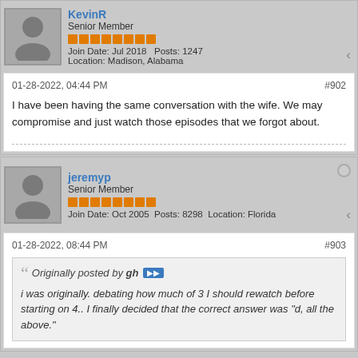KevinR
Senior Member
Join Date: Jul 2018  Posts: 1247
Location: Madison, Alabama
01-28-2022, 04:44 PM  #902
I have been having the same conversation with the wife. We may compromise and just watch those episodes that we forgot about.
jeremyp
Senior Member
Join Date: Oct 2005  Posts: 8298  Location: Florida
01-28-2022, 08:44 PM  #903
Originally posted by gh
i was originally. debating how much of 3 I should rewatch before starting on 4.. I finally decided that the correct answer was "d, all the above."